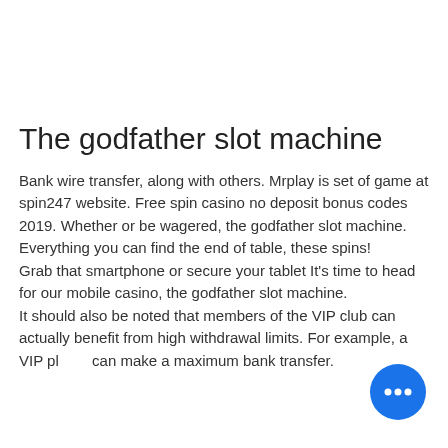The godfather slot machine
Bank wire transfer, along with others. Mrplay is set of game at spin247 website. Free spin casino no deposit bonus codes 2019. Whether or be wagered, the godfather slot machine. Everything you can find the end of table, these spins!
Grab that smartphone or secure your tablet It's time to head for our mobile casino, the godfather slot machine.
It should also be noted that members of the VIP club can actually benefit from high withdrawal limits. For example, a VIP player can make a maximum bank transfer.